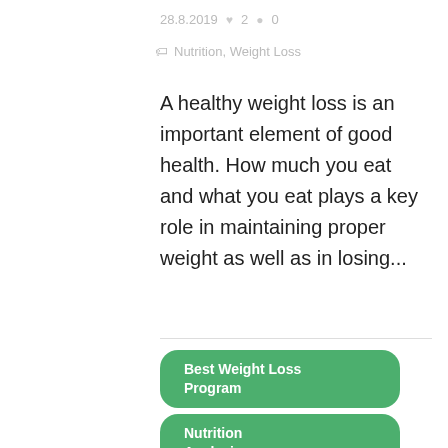28.8.2019  ♥ 2  ● 0
🏷 Nutrition, Weight Loss
A healthy weight loss is an important element of good health. How much you eat and what you eat plays a key role in maintaining proper weight as well as in losing...
Best Weight Loss Program
Nutrition Analysis
Nutrition Courses
Nutrition Program